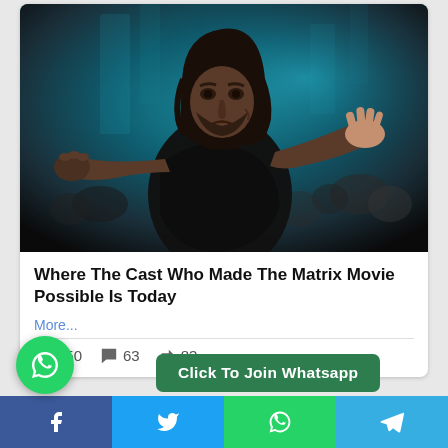[Figure (photo): Movie still from The Matrix showing a man with long dark hair in a fighting stance, one fist raised and one hand extended outward, against a dark teal/blue background with blurred crowd.]
Where The Cast Who Made The Matrix Movie Possible Is Today
More...
👍 250  💬 63  ↪ 83
Click To Join Whatsapp
Facebook  Twitter  WhatsApp  Telegram